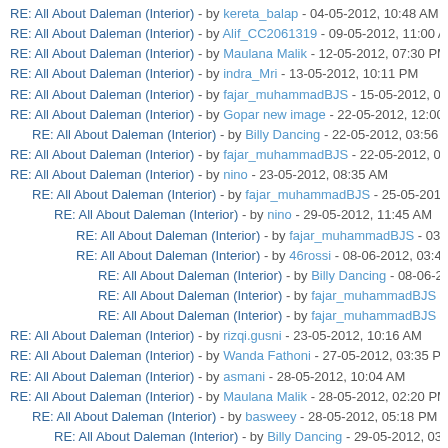RE: All About Daleman (Interior) - by kereta_balap - 04-05-2012, 10:48 AM
RE: All About Daleman (Interior) - by Alif_CC2061319 - 09-05-2012, 11:00 AM
RE: All About Daleman (Interior) - by Maulana Malik - 12-05-2012, 07:30 PM
RE: All About Daleman (Interior) - by indra_Mri - 13-05-2012, 10:11 PM
RE: All About Daleman (Interior) - by fajar_muhammadBJS - 15-05-2012, 06:01
RE: All About Daleman (Interior) - by Gopar new image - 22-05-2012, 12:00 AM
RE: All About Daleman (Interior) - by Billy Dancing - 22-05-2012, 03:56 PM
RE: All About Daleman (Interior) - by fajar_muhammadBJS - 22-05-2012, 03:11
RE: All About Daleman (Interior) - by nino - 23-05-2012, 08:35 AM
RE: All About Daleman (Interior) - by fajar_muhammadBJS - 25-05-2012, 02:
RE: All About Daleman (Interior) - by nino - 29-05-2012, 11:45 AM
RE: All About Daleman (Interior) - by fajar_muhammadBJS - 03-06-2012
RE: All About Daleman (Interior) - by 46rossi - 08-06-2012, 03:49 PM
RE: All About Daleman (Interior) - by Billy Dancing - 08-06-2012, 04:5
RE: All About Daleman (Interior) - by fajar_muhammadBJS - 10-06-20
RE: All About Daleman (Interior) - by fajar_muhammadBJS - 10-06-20
RE: All About Daleman (Interior) - by rizqi.gusni - 23-05-2012, 10:16 AM
RE: All About Daleman (Interior) - by Wanda Fathoni - 27-05-2012, 03:35 PM
RE: All About Daleman (Interior) - by asmani - 28-05-2012, 10:04 AM
RE: All About Daleman (Interior) - by Maulana Malik - 28-05-2012, 02:20 PM
RE: All About Daleman (Interior) - by basweey - 28-05-2012, 05:18 PM
RE: All About Daleman (Interior) - by Billy Dancing - 29-05-2012, 03:38 PM
RE: All About Daleman (Interior) - by asmani - 04-06-2012, 08:42 AM
RE: All About Daleman (Interior) - by Maulana Malik - 04-06-2012, 02:07 PM
RE: All About Daleman (Interior) - by indra_Mri - 06-06-2012, 07:38 PM